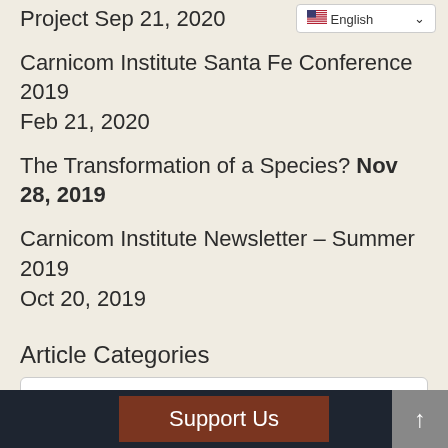Project Sep 21, 2020
Carnicom Institute Santa Fe Conference 2019 Feb 21, 2020
The Transformation of a Species? Nov 28, 2019
Carnicom Institute Newsletter – Summer 2019 Oct 20, 2019
Article Categories
Select Category
Support Us